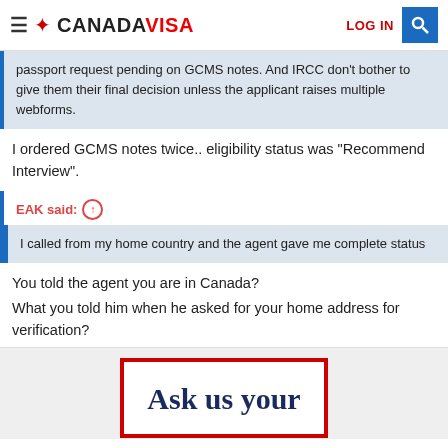CANADAVISA — LOG IN [search]
passport request pending on GCMS notes. And IRCC don't bother to give them their final decision unless the applicant raises multiple webforms.
I ordered GCMS notes twice.. eligibility status was "Recommend Interview".
EAK said: ↑
I called from my home country and the agent gave me complete status
You told the agent you are in Canada?
What you told him when he asked for your home address for verification?
[Figure (other): Ad box with red border containing text 'Ask us your']